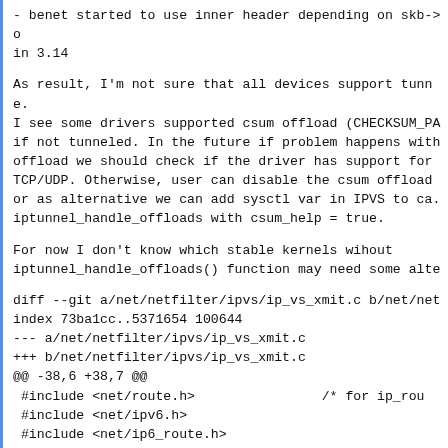- benet started to use inner header depending on skb->o in 3.14
As result, I'm not sure that all devices support tunne. I see some drivers supported csum offload (CHECKSUM_PA if not tunneled. In the future if problem happens with offload we should check if the driver has support for TCP/UDP. Otherwise, user can disable the csum offload or as alternative we can add sysctl var in IPVS to ca. iptunnel_handle_offloads with csum_help = true.
For now I don't know which stable kernels wihout iptunnel_handle_offloads() function may need some alte
diff --git a/net/netfilter/ipvs/ip_vs_xmit.c b/net/net
index 73ba1cc..5371654 100644
--- a/net/netfilter/ipvs/ip_vs_xmit.c
+++ b/net/netfilter/ipvs/ip_vs_xmit.c
@@ -38,6 +38,7 @@
 #include <net/route.h>                /* for ip_rou
 #include <net/ipv6.h>
 #include <net/ip6_route.h>
+#include <net/ip_tunnels.h>
 #include <net/addrconf.h>
 #include <linux/icmpv6.h>
 #include <linux/netfilter.h>
@@ -862,11 +863,15 @@ ip_vs_tunnel_xmit(struct sk_buff
*cp,
              old_iph = ip_hdr(skb);
        }